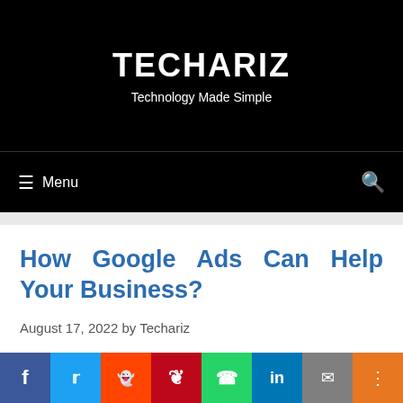TECHARIZ
Technology Made Simple
≡ Menu
How Google Ads Can Help Your Business?
August 17, 2022 by Techariz